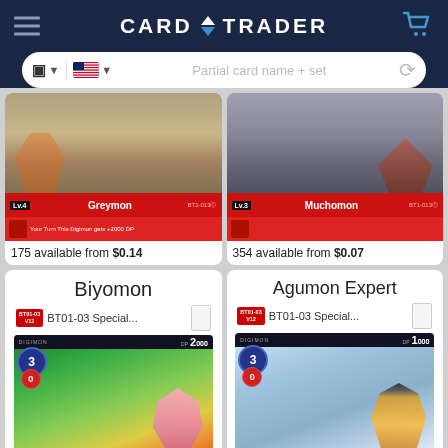CardTrader
[Figure (screenshot): CardTrader website header with logo, hamburger menu, cart icon, and search bar with placeholder 'Partial card name + set']
[Figure (photo): Greymon Digimon card (BT1-013) with red label bar showing Lv.4]
175 available from $0.14
[Figure (photo): Muchomon Digimon card (BT1-013) with red label bar showing Lv.3]
354 available from $0.07
Biyomon
BT01-03 Special...
[Figure (photo): Biyomon Digimon card artwork - pink bird-like creature in jungle setting, Level 3, DP 2000]
Agumon Expert
BT01-03 Special...
[Figure (photo): Agumon Expert Digimon card artwork - orange dinosaur in graduation cap and lab coat, Level 3, DP 1000]